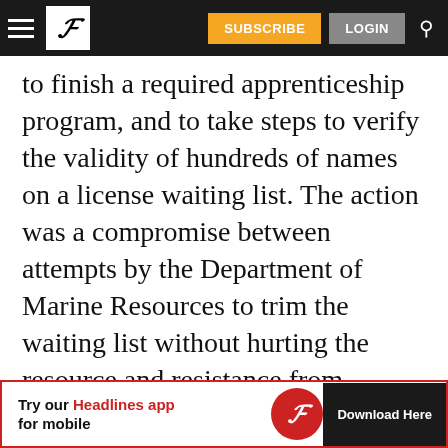P | SUBSCRIBE | LOGIN
to finish a required apprenticeship program, and to take steps to verify the validity of hundreds of names on a license waiting list. The action was a compromise between attempts by the Department of Marine Resources to trim the waiting list without hurting the resource and resistance from established lobstermen, who were opposed to what they saw as a loss of control and the potential for overfishing.
“I’d… [partial/cut-off line]
[Figure (screenshot): Advertisement banner: 'Try our Headlines app for mobile' with a red P logo circle and 'Download Here' button on black background, bordered in red.]